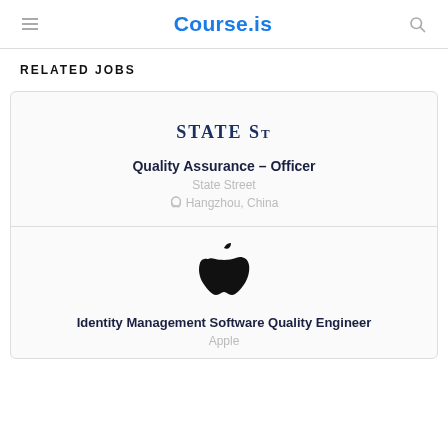Course.is
RELATED JOBS
[Figure (logo): State Street logo - serif text reading STATE ST]
Quality Assurance – Officer
State Street
Hangzhou, China
[Figure (logo): Apple logo - black apple silhouette]
Identity Management Software Quality Engineer
Apple